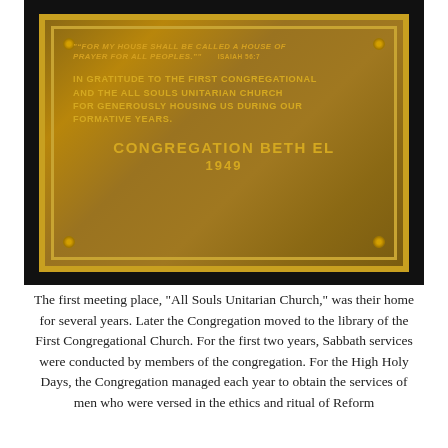[Figure (photo): Bronze memorial plaque for Congregation Beth El, 1949. The plaque reads: '"For my house shall be called a house of prayer for all peoples." Isaiah 56:7. In gratitude to the First Congregational and the All Souls Unitarian Church for generously housing us during our formative years. Congregation Beth El 1949']
The first meeting place, "All Souls Unitarian Church," was their home for several years. Later the Congregation moved to the library of the First Congregational Church. For the first two years, Sabbath services were conducted by members of the congregation. For the High Holy Days, the Congregation managed each year to obtain the services of men who were versed in the ethics and ritual of Reform